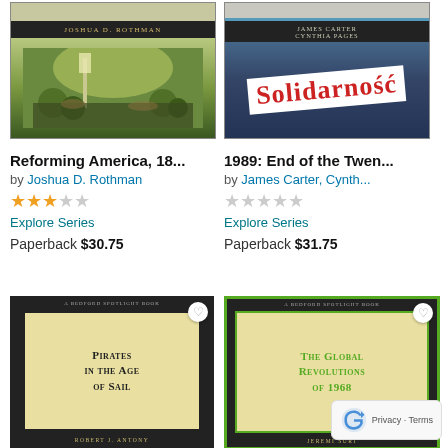[Figure (photo): Book cover: Reforming America, 18... by Joshua D. Rothman, showing a historical crowd scene painting]
Reforming America, 18...
by Joshua D. Rothman
★★★☆☆
Explore Series
Paperback $30.75
[Figure (photo): Book cover: 1989: End of the Twen... by James Carter, Cynthia Pages, showing Solidarnosc protest banner]
1989: End of the Twen...
by James Carter, Cynth...
★★★★★ (empty stars)
Explore Series
Paperback $31.75
[Figure (photo): Book cover: Pirates in the Age of Sail by Robert J. Antony, cream colored cover with small-caps title]
[Figure (photo): Book cover: The Global Revolutions of 1968 by Jeremi Suri, cream colored cover with green border and small-caps title]